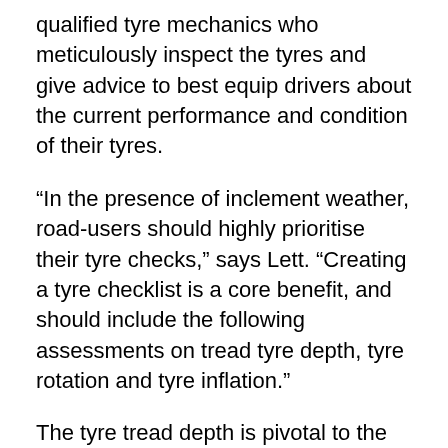qualified tyre mechanics who meticulously inspect the tyres and give advice to best equip drivers about the current performance and condition of their tyres.
“In the presence of inclement weather, road-users should highly prioritise their tyre checks,” says Lett. “Creating a tyre checklist is a core benefit, and should include the following assessments on tread tyre depth, tyre rotation and tyre inflation.”
The tyre tread depth is pivotal to the grip of the tyre, and should meet the legal minimum tread depth of 1.5mm in Australia. When it pertains to wet conditions, tyre treads that are worn could pose a detrimental risk to the driver, as there is insufficient traction. “Inspecting and ensuring that